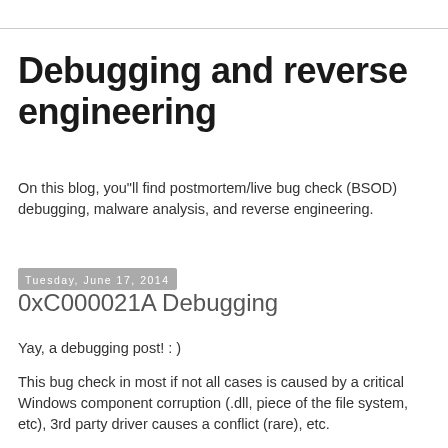Debugging and reverse engineering
On this blog, you"ll find postmortem/live bug check (BSOD) debugging, malware analysis, and reverse engineering.
Tuesday, June 17, 2014
0xC000021A Debugging
Yay, a debugging post! : )
This bug check in most if not all cases is caused by a critical Windows component corruption (.dll, piece of the file system, etc), 3rd party driver causes a conflict (rare), etc.